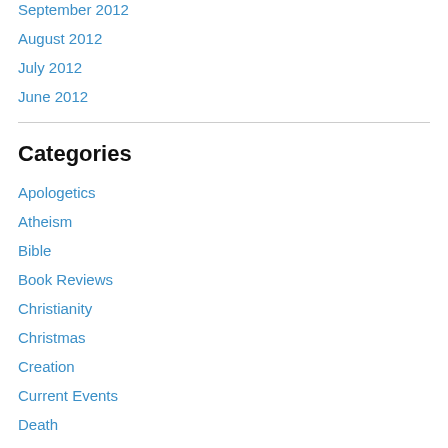September 2012
August 2012
July 2012
June 2012
Categories
Apologetics
Atheism
Bible
Book Reviews
Christianity
Christmas
Creation
Current Events
Death
Dogs
Easter
End Times